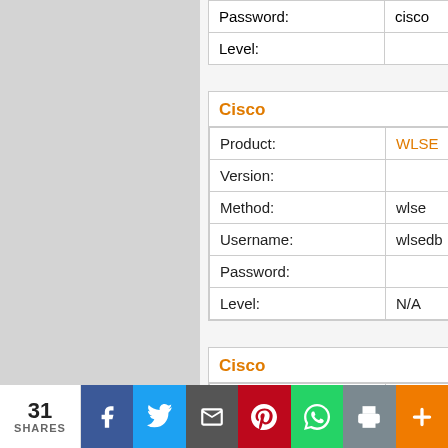| Password: | cisco | Pas |
| Level: |  | Lev |
| Cisco |
| --- |
| Product: | WLSE | Pro |
| Version: |  | Ver |
| Method: | wlse | Me |
| Username: | wlsedb | Use |
| Password: |  | Pas |
| Level: | N/A | Lev |
| Cisco |
| --- |
| Product: | Aironet | Pro |
| Version: |  | Ver |
| Method: | Admin access (Telnet) | Me |